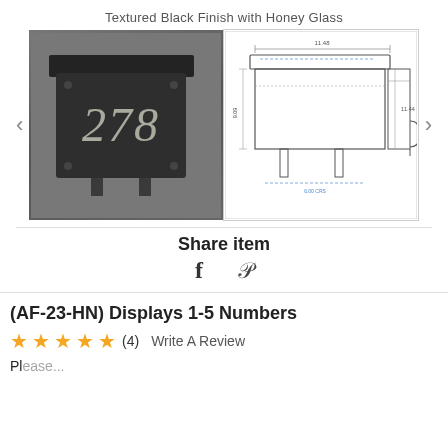Textured Black Finish with Honey Glass
[Figure (photo): Product photo of a black wall-mount mailbox with the number '278' displayed on the front in a textured black finish with honey glass]
[Figure (engineering-diagram): Technical line drawing/schematic of the mailbox showing dimensions from front and side views]
Share item
f   Pinterest icon
(AF-23-HN) Displays 1-5 Numbers
★★★★★ (4)  Write A Review
Please...